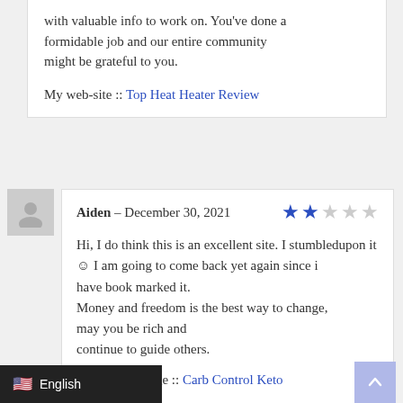with valuable info to work on. You've done a formidable job and our entire community might be grateful to you.

My web-site :: Top Heat Heater Review
Aiden – December 30, 2021
Hi, I do think this is an excellent site. I stumbledupon it ☺ I am going to come back yet again since i have book marked it.
Money and freedom is the best way to change, may you be rich and continue to guide others.

Look to my page :: Carb Control Keto [link] ment